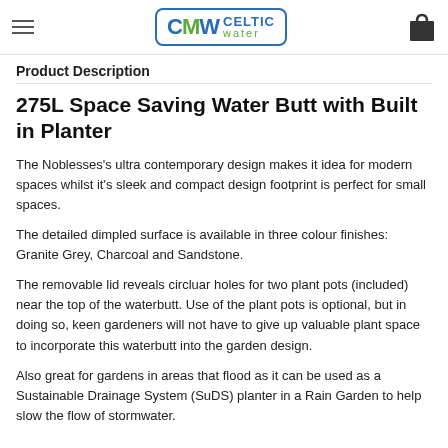Celtic Water
Product Description
275L Space Saving Water Butt with Built in Planter
The Noblesses's ultra contemporary design makes it idea for modern spaces whilst it's sleek and compact design footprint is perfect for small spaces.
The detailed dimpled surface is available in three colour finishes: Granite Grey, Charcoal and Sandstone.
The removable lid reveals circluar holes for two plant pots (included) near the top of the waterbutt. Use of the plant pots is optional, but in doing so, keen gardeners will not have to give up valuable plant space to incorporate this waterbutt into the garden design.
Also great for gardens in areas that flood as it can be used as a Sustainable Drainage System (SuDS) planter in a Rain Garden to help slow the flow of stormwater.